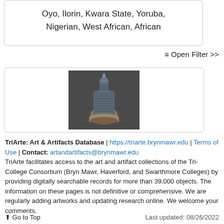Oyo, Ilorin, Kwara State, Yoruba, Nigerian, West African, African
≡ Open Filter >>
[Figure (photo): Close-up photograph of an African artifact, possibly a carved or textured object, dark blue-grey in color, shown against a dark grey background.]
TriArte: Art & Artifacts Database | https://triarte.brynmawr.edu | Terms of Use | Contact: artandartifacts@brynmawr.edu
TriArte facilitates access to the art and artifact collections of the Tri-College Consortium (Bryn Mawr, Haverford, and Swarthmore Colleges) by providing digitally searchable records for more than 39,000 objects. The information on these pages is not definitive or comprehensive. We are regularly adding artworks and updating research online. We welcome your comments.
⬆ Go to Top    Last updated: 08/26/2022